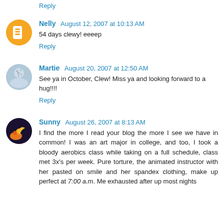Reply (partial, top of page)
Nelly  August 12, 2007 at 10:13 AM
54 days clewy! eeeep
Reply
Martie  August 20, 2007 at 12:50 AM
See ya in October, Clew! Miss ya and looking forward to a hug!!!!
Reply
Sunny  August 26, 2007 at 8:13 AM
I find the more I read your blog the more I see we have in common! I was an art major in college, and too, I took a bloody aerobics class while taking on a full schedule, class met 3x's per week. Pure torture, the animated instructor with her pasted on smile and her spandex clothing, make up perfect at 7:00 a.m. Me exhausted after up most nights